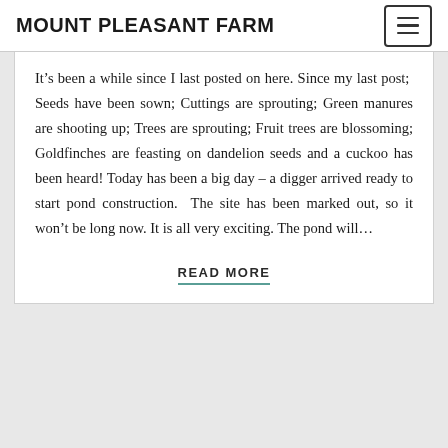MOUNT PLEASANT FARM
It’s been a while since I last posted on here. Since my last post;  Seeds have been sown; Cuttings are sprouting; Green manures are shooting up; Trees are sprouting; Fruit trees are blossoming; Goldfinches are feasting on dandelion seeds and a cuckoo has been heard! Today has been a big day – a digger arrived ready to start pond construction.  The site has been marked out, so it won’t be long now. It is all very exciting. The pond will…
READ MORE